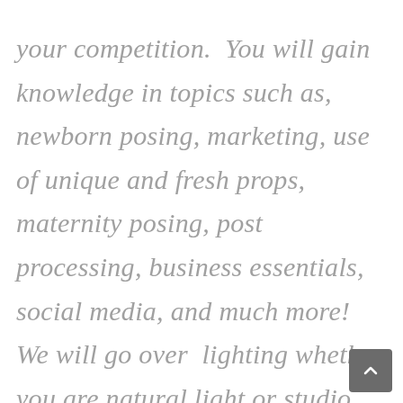your competition. You will gain knowledge in topics such as, newborn posing, marketing, use of unique and fresh props, maternity posing, post processing, business essentials, social media, and much more! We will go over lighting whether you are natural light or studio light during your mentoring session.